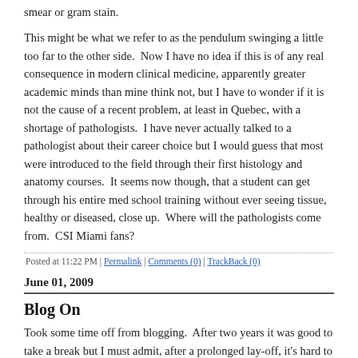smear or gram stain.
This might be what we refer to as the pendulum swinging a little too far to the other side.  Now I have no idea if this is of any real consequence in modern clinical medicine, apparently greater academic minds than mine think not, but I have to wonder if it is not the cause of a recent problem, at least in Quebec, with a shortage of pathologists.  I have never actually talked to a pathologist about their career choice but I would guess that most were introduced to the field through their first histology and anatomy courses.  It seems now though, that a student can get through his entire med school training without ever seeing tissue, healthy or diseased, close up.  Where will the pathologists come from.  CSI Miami fans?
Posted at 11:22 PM | Permalink | Comments (0) | TrackBack (0)
June 01, 2009
Blog On
Took some time off from blogging.  After two years it was good to take a break but I must admit, after a prolonged lay-off, it's hard to get restarted.  It's not that there isn't stuff to talk about, after all, there's always something new.  And it's funny, How often can we talk